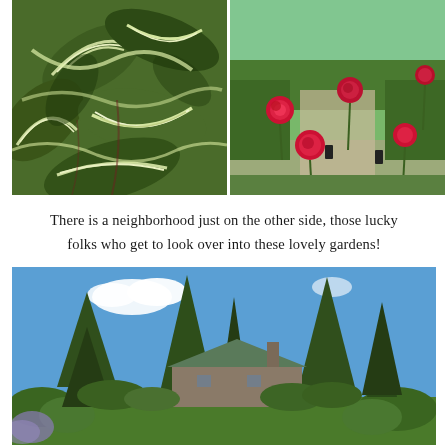[Figure (photo): Close-up photograph of tropical plant leaves with dark green and cream/white zebra-stripe pattern, resembling a Calathea or Maranta plant]
[Figure (photo): Garden photograph showing bright red/crimson ranunculus flowers on long stems in a formal garden bed with green hedges and a pathway in the background]
There is a neighborhood just on the other side, those lucky folks who get to look over into these lovely gardens!
[Figure (photo): Wide landscape photograph of a garden with tall evergreen trees (spruce/fir) against a blue sky with white clouds, a house with green roof visible among the trees, lush green foliage in foreground]